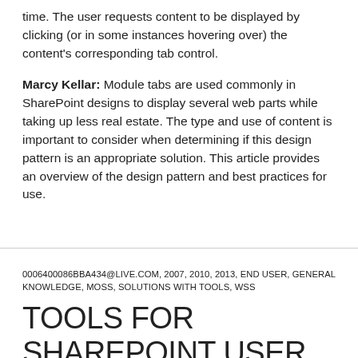time. The user requests content to be displayed by clicking (or in some instances hovering over) the content's corresponding tab control.
Marcy Kellar: Module tabs are used commonly in SharePoint designs to display several web parts while taking up less real estate. The type and use of content is important to consider when determining if this design pattern is an appropriate solution. This article provides an overview of the design pattern and best practices for use.
0006400086BBA434@LIVE.COM, 2007, 2010, 2013, END USER, GENERAL KNOWLEDGE, MOSS, SOLUTIONS WITH TOOLS, WSS
TOOLS FOR SHAREPOINT USER EXPERIENCE (UX)